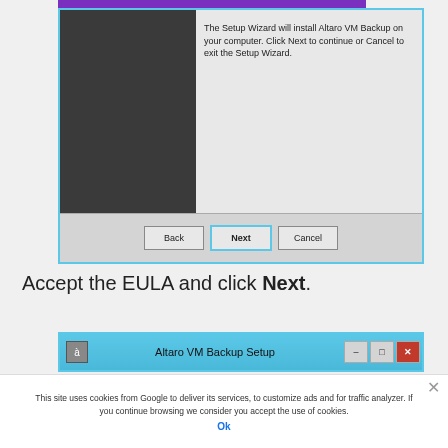[Figure (screenshot): Altaro VM Backup Setup Wizard dialog showing welcome/intro screen with dark left panel, text area on right, and Back/Next/Cancel buttons. A purple bar is visible at the top.]
Accept the EULA and click Next.
[Figure (screenshot): Altaro VM Backup Setup dialog title bar showing icon, title 'Altaro VM Backup Setup', and window control buttons (minimize, maximize, close).]
This site uses cookies from Google to deliver its services, to customize ads and for traffic analyzer. If you continue browsing we consider you accept the use of cookies.
Ok